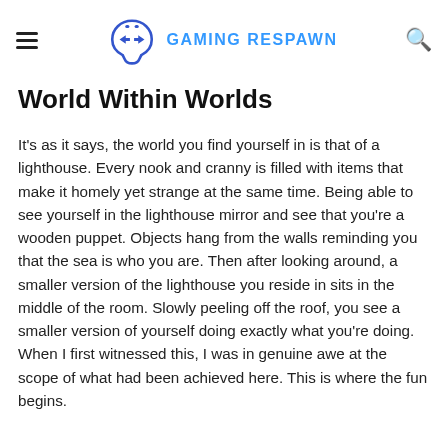GAMING RESPAWN
World Within Worlds
It's as it says, the world you find yourself in is that of a lighthouse. Every nook and cranny is filled with items that make it homely yet strange at the same time. Being able to see yourself in the lighthouse mirror and see that you're a wooden puppet. Objects hang from the walls reminding you that the sea is who you are. Then after looking around, a smaller version of the lighthouse you reside in sits in the middle of the room. Slowly peeling off the roof, you see a smaller version of yourself doing exactly what you're doing. When I first witnessed this, I was in genuine awe at the scope of what had been achieved here. This is where the fun begins.